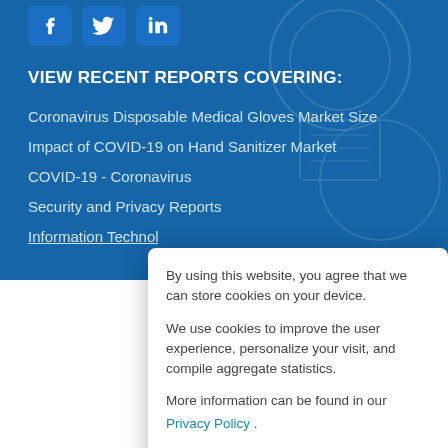[Figure (illustration): Social media icons: Facebook, Twitter, LinkedIn on blue background]
VIEW RECENT REPORTS COVERING:
Coronavirus Disposable Medical Gloves Market Size
Impact of COVID-19 on Hand Sanitizer Market
COVID-19 - Coronavirus
Security and Privacy Reports
Information Technology Reports (partially visible)
By using this website, you agree that we can store cookies on your device.

We use cookies to improve the user experience, personalize your visit, and compile aggregate statistics.

More information can be found in our Privacy Policy .
Accept | Decline